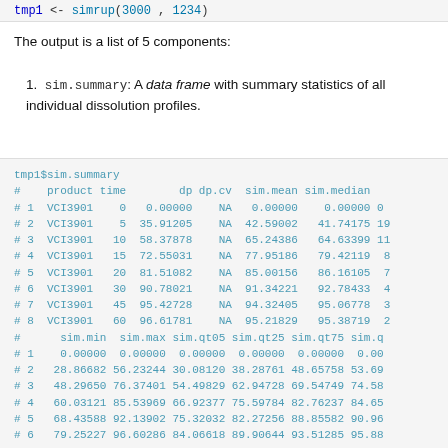tmp1 <- simrup(3000, 1234)
The output is a list of 5 components:
sim.summary: A data frame with summary statistics of all individual dissolution profiles.
[Figure (screenshot): R console output showing tmp1$sim.summary data frame with columns: product, time, dp, dp.cv, sim.mean, sim.median, sim.min, sim.max, sim.qt05, sim.qt25, sim.qt75, sim.q... Rows 1-8 for VCI3901 at times 0,5,10,15,20,30,45,60, followed by additional rows showing sim statistics.]